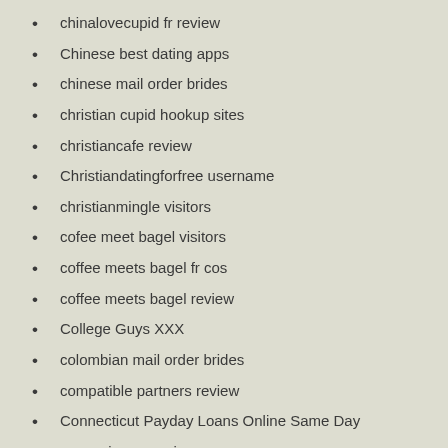chinalovecupid fr review
Chinese best dating apps
chinese mail order brides
christian cupid hookup sites
christiancafe review
Christiandatingforfree username
christianmingle visitors
cofee meet bagel visitors
coffee meets bagel fr cos
coffee meets bagel review
College Guys XXX
colombian mail order brides
compatible partners review
Connecticut Payday Loans Online Same Day
connexion es review